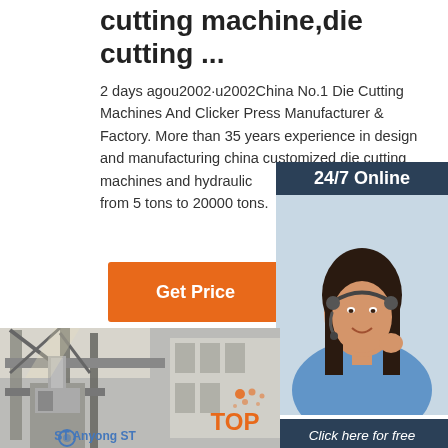cutting machine,die cutting ...
2 days agou2002·u2002China No.1 Die Cutting Machines And Clicker Press Manufacturer & Factory. More than 35 years experience in design and manufacturing china customized die cutting machines and hydraulic ... from 5 tons to 20000 tons.
[Figure (screenshot): Orange 'Get Price' button]
[Figure (photo): Customer service woman with headset, 24/7 Online panel, Click here for free chat, QUOTATION button on dark blue background]
[Figure (photo): Grayscale industrial die cutting machinery photograph, with Anyong ST logo at bottom and TOP badge]